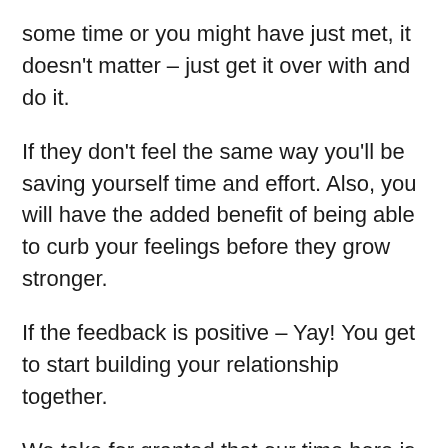some time or you might have just met, it doesn't matter – just get it over with and do it.
If they don't feel the same way you'll be saving yourself time and effort. Also, you will have the added benefit of being able to curb your feelings before they grow stronger.
If the feedback is positive – Yay! You get to start building your relationship together.
We take for granted that our time here is limited. You never know how much of it you have left so make every second count.
3) Keep it on the down-low